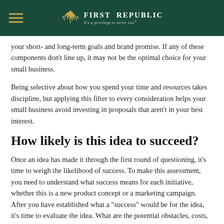First Republic – It's a privilege to serve you®
your short- and long-term goals and brand promise. If any of these components don't line up, it may not be the optimal choice for your small business.
Being selective about how you spend your time and resources takes discipline, but applying this filter to every consideration helps your small business avoid investing in proposals that aren't in your best interest.
How likely is this idea to succeed?
Once an idea has made it through the first round of questioning, it's time to weigh the likelihood of success. To make this assessment, you need to understand what success means for each initiative, whether this is a new product concept or a marketing campaign. After you have established what a "success" would be for the idea, it's time to evaluate the idea. What are the potential obstacles, costs, time